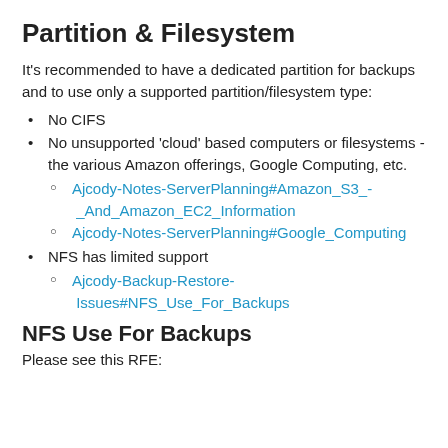Partition & Filesystem
It's recommended to have a dedicated partition for backups and to use only a supported partition/filesystem type:
No CIFS
No unsupported 'cloud' based computers or filesystems - the various Amazon offerings, Google Computing, etc.
Ajcody-Notes-ServerPlanning#Amazon_S3_-_And_Amazon_EC2_Information
Ajcody-Notes-ServerPlanning#Google_Computing
NFS has limited support
Ajcody-Backup-Restore-Issues#NFS_Use_For_Backups
NFS Use For Backups
Please see this RFE: